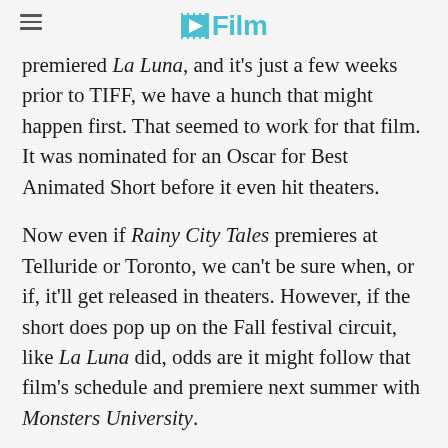/Film
premiered La Luna, and it's just a few weeks prior to TIFF, we have a hunch that might happen first. That seemed to work for that film. It was nominated for an Oscar for Best Animated Short before it even hit theaters.
Now even if Rainy City Tales premieres at Telluride or Toronto, we can't be sure when, or if, it'll get released in theaters. However, if the short does pop up on the Fall festival circuit, like La Luna did, odds are it might follow that film's schedule and premiere next summer with Monsters University.
RECOMMENDED